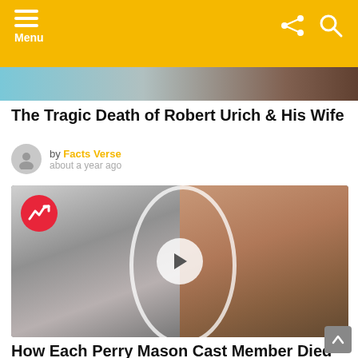Menu
[Figure (photo): Top image strip showing partial photo]
The Tragic Death of Robert Urich & His Wife
by Facts Verse about a year ago
[Figure (photo): Split image: black and white photo of woman on left, color photo of man in suit on right, with play button overlay and trending badge]
How Each Perry Mason Cast Member Died